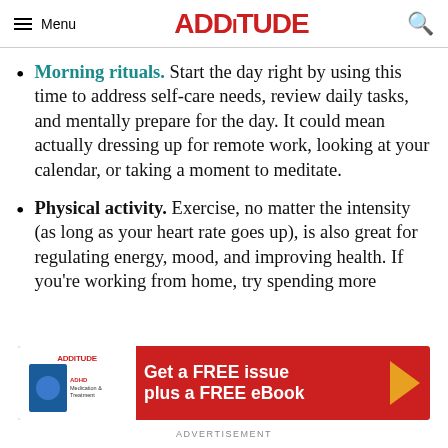Menu | ADDitude | Search
Morning rituals. Start the day right by using this time to address self-care needs, review daily tasks, and mentally prepare for the day. It could mean actually dressing up for remote work, looking at your calendar, or taking a moment to meditate.
Physical activity. Exercise, no matter the intensity (as long as your heart rate goes up), is also great for regulating energy, mood, and improving health. If you're working from home, try spending more
[Figure (infographic): ADDitude magazine advertisement banner: red background with white text reading 'Get a FREE issue plus a FREE eBook' with a yellow arrow, and a white panel on the left showing the ADDitude logo and a magazine cover for ADHD Medication & Treatment]
ADVERTISEMENT